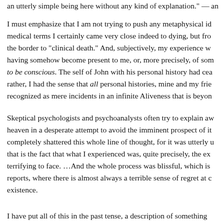an utterly simple being here without any kind of explanation. — an
I must emphasize that I am not trying to push any metaphysical id medical terms I certainly came very close indeed to dying, but fro the border to "clinical death." And, subjectively, my experience w having somehow become present to me, or, more precisely, of som to be conscious. The self of John with his personal history had cea rather, I had the sense that all personal histories, mine and my frie recognized as mere incidents in an infinite Aliveness that is beyon
Skeptical psychologists and psychoanalysts often try to explain aw heaven in a desperate attempt to avoid the imminent prospect of it completely shattered this whole line of thought, for it was utterly u that is the fact that what I experienced was, quite precisely, the ex terrifying to face. …And the whole process was blissful, which is reports, where there is almost always a terrible sense of regret at c existence.
I have put all of this in the past tense, a description of something